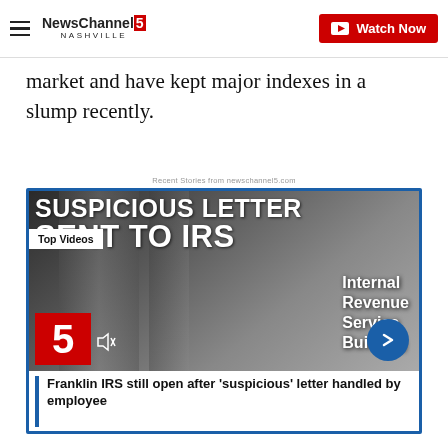NewsChannel 5 Nashville | Watch Now
market and have kept major indexes in a slump recently.
Recent Stories from newschannel5.com
[Figure (screenshot): Video thumbnail showing 'SUSPICIOUS LETTER SENT TO IRS' overlay text on a photo of the Internal Revenue Service Building, with a Channel 5 logo, Top Videos badge, and a blue arrow button. Caption reads: Franklin IRS still open after 'suspicious' letter handled by employee]
Franklin IRS still open after 'suspicious' letter handled by employee